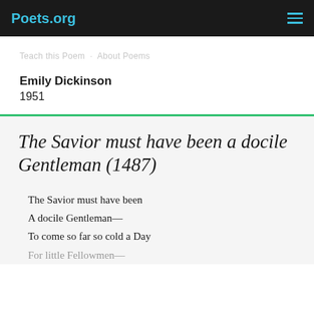Poets.org
Teach This Poem · About Poems
Emily Dickinson
1951
The Savior must have been a docile Gentleman (1487)
The Savior must have been
A docile Gentleman—
To come so far so cold a Day
For little Fellowmen—